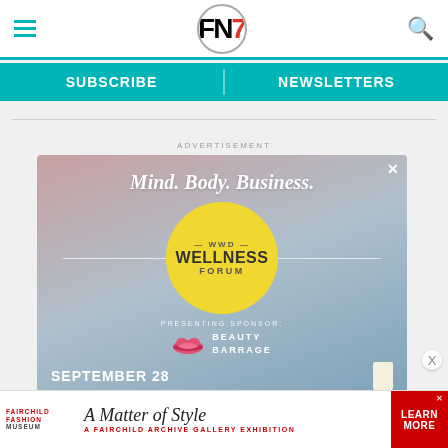FN7 — Footwear News header with hamburger menu, logo, and search icon
SUBSCRIBE | NEWSLETTERS
ADVERTISEMENT
[Figure (illustration): WWD Wellness Forum advertisement banner. Tagline: Mind. Body. Business. Yellow circle with WWD Wellness Forum text. Presenting Sponsor: Beauty Barrage. September 28. Register button.]
[Figure (illustration): Fairchild Fashion Museum bottom banner ad: A Matter of Style — A Fairchild Archive Gallery Exhibition. Learn More button in red.]